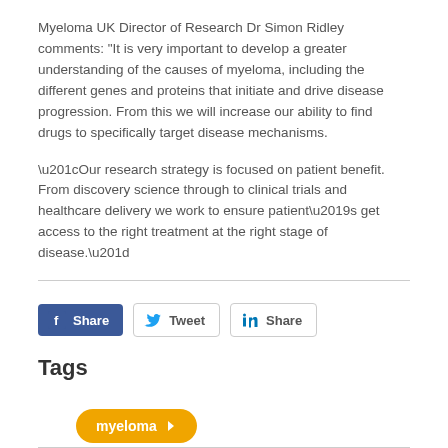Myeloma UK Director of Research Dr Simon Ridley comments: "It is very important to develop a greater understanding of the causes of myeloma, including the different genes and proteins that initiate and drive disease progression. From this we will increase our ability to find drugs to specifically target disease mechanisms.

“Our research strategy is focused on patient benefit. From discovery science through to clinical trials and healthcare delivery we work to ensure patient’s get access to the right treatment at the right stage of disease.”
[Figure (other): Social sharing buttons: Facebook Share, Tweet, LinkedIn Share]
Tags
myeloma